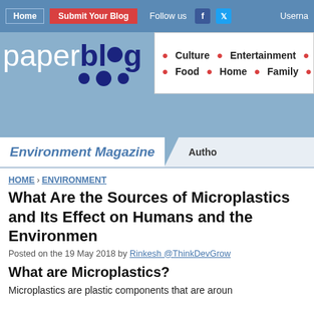Home | Submit Your Blog | Follow us | Username
[Figure (logo): Paperblog logo with blue dots]
Culture • Entertainment • So... • Food • Home • Family • S...
Environment Magazine | Author
HOME › ENVIRONMENT
What Are the Sources of Microplastics and Its Effect on Humans and the Environment
Posted on the 19 May 2018 by Rinkesh @ThinkDevGrow
What are Microplastics?
Microplastics are plastic components that are around